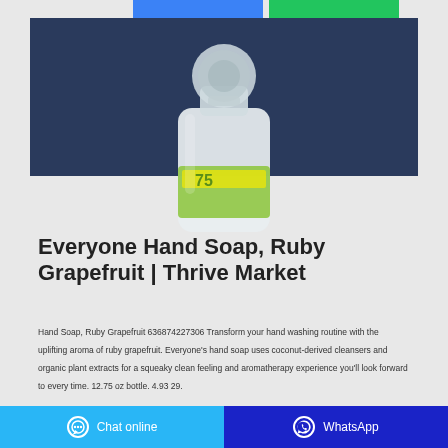[Figure (photo): Close-up photo of a clear plastic hand soap bottle with an open flip cap, showing a green and yellow label partially visible. Dark navy/blue background with white surface.]
Everyone Hand Soap, Ruby Grapefruit | Thrive Market
Hand Soap, Ruby Grapefruit 636874227306 Transform your hand washing routine with the uplifting aroma of ruby grapefruit. Everyone's hand soap uses coconut-derived cleansers and organic plant extracts for a squeaky clean feeling and aromatherapy experience you'll look forward to every time. 12.75 oz bottle. 4.93 29.
Chat online   WhatsApp